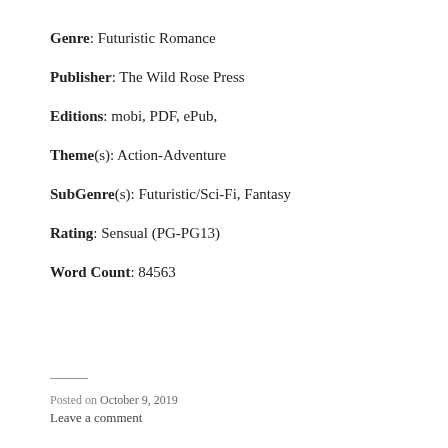Genre: Futuristic Romance
Publisher: The Wild Rose Press
Editions: mobi, PDF, ePub,
Theme(s): Action-Adventure
SubGenre(s): Futuristic/Sci-Fi, Fantasy
Rating: Sensual (PG-PG13)
Word Count: 84563
Posted on October 9, 2019
Leave a comment